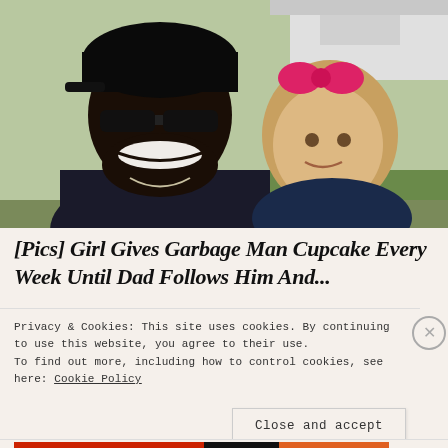[Figure (photo): A smiling Black man wearing sunglasses and a dark cap poses with a small blonde girl wearing a pink bow, outdoors near a white vehicle with green grass in the background.]
[Pics] Girl Gives Garbage Man Cupcake Every Week Until Dad Follows Him And...
Privacy & Cookies: This site uses cookies. By continuing to use this website, you agree to their use.
To find out more, including how to control cookies, see here: Cookie Policy
Close and accept